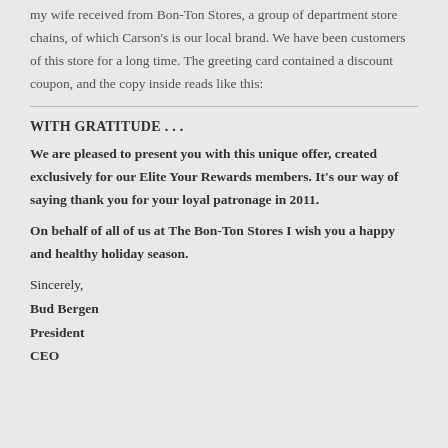my wife received from Bon-Ton Stores, a group of department store chains, of which Carson's is our local brand. We have been customers of this store for a long time. The greeting card contained a discount coupon, and the copy inside reads like this:
WITH GRATITUDE . . .
We are pleased to present you with this unique offer, created exclusively for our Elite Your Rewards members. It's our way of saying thank you for your loyal patronage in 2011.
On behalf of all of us at The Bon-Ton Stores I wish you a happy and healthy holiday season.
Sincerely,
Bud Bergen
President
CEO